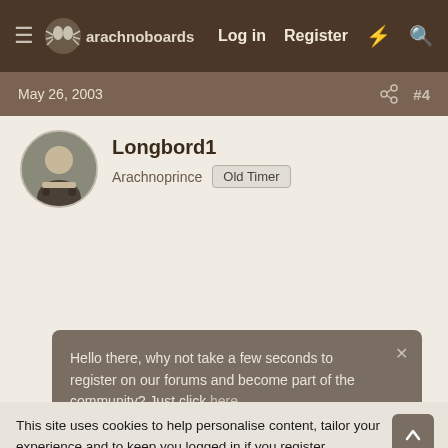arachnoboards — Log in  Register
May 26, 2003  #4
Longbord1
Arachnoprince  Old Timer
Hello there, why not take a few seconds to register on our forums and become part of the community? Just click here.
This site uses cookies to help personalise content, tailor your experience and to keep you logged in if you register.
By continuing to use this site, you are consenting to our use of cookies.
✓ Accept   Learn more…